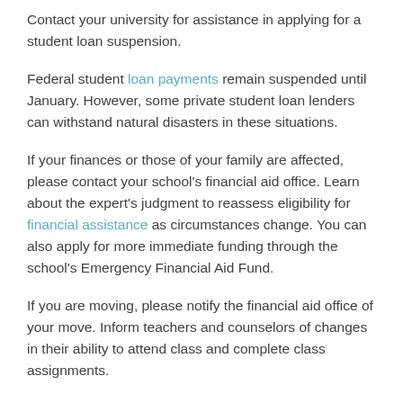Contact your university for assistance in applying for a student loan suspension.
Federal student loan payments remain suspended until January. However, some private student loan lenders can withstand natural disasters in these situations.
If your finances or those of your family are affected, please contact your school's financial aid office. Learn about the expert's judgment to reassess eligibility for financial assistance as circumstances change. You can also apply for more immediate funding through the school's Emergency Financial Aid Fund.
If you are moving, please notify the financial aid office of your move. Inform teachers and counselors of changes in their ability to attend class and complete class assignments.
Be strategic with aid, credit, and debt when you dig.